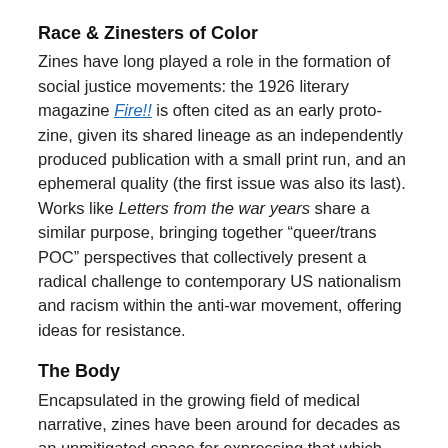Race & Zinesters of Color
Zines have long played a role in the formation of social justice movements: the 1926 literary magazine Fire!! is often cited as an early proto-zine, given its shared lineage as an independently produced publication with a small print run, and an ephemeral quality (the first issue was also its last). Works like Letters from the war years share a similar purpose, bringing together “queer/trans POC” perspectives that collectively present a radical challenge to contemporary US nationalism and racism within the anti-war movement, offering ideas for resistance.
The Body
Encapsulated in the growing field of medical narrative, zines have been around for decades as an unmitigated space for expressing that which